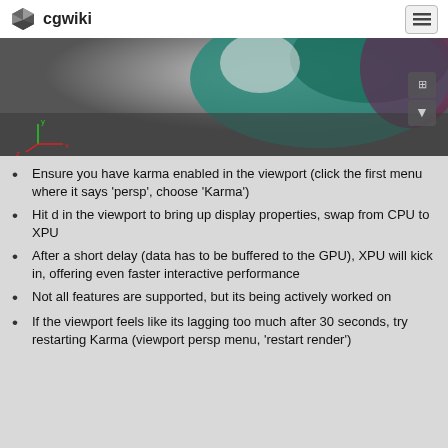cgwiki
[Figure (screenshot): 3D viewport showing a render with teal/green shapes against a grey background, with XYZ axis indicators in the lower left and navigation controls in the lower right.]
Ensure you have karma enabled in the viewport (click the first menu where it says 'persp', choose 'Karma')
Hit d in the viewport to bring up display properties, swap from CPU to XPU
After a short delay (data has to be buffered to the GPU), XPU will kick in, offering even faster interactive performance
Not all features are supported, but its being actively worked on
If the viewport feels like its lagging too much after 30 seconds, try restarting Karma (viewport persp menu, 'restart render')